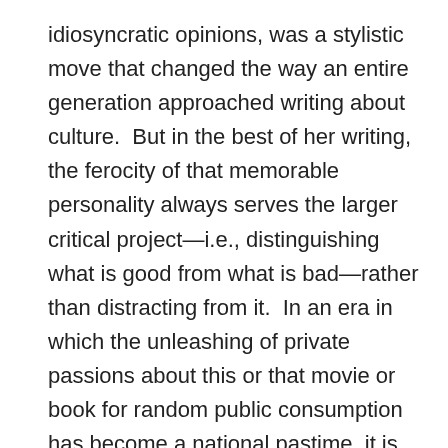idiosyncratic opinions, was a stylistic move that changed the way an entire generation approached writing about culture.  But in the best of her writing, the ferocity of that memorable personality always serves the larger critical project—i.e., distinguishing what is good from what is bad—rather than distracting from it.  In an era in which the unleashing of private passions about this or that movie or book for random public consumption has become a national pastime, it is edifying to see it done worthily and well—and professionally; and done in the service of an aesthetically serious and intellectually meaningful project.  Extensive reading of Kael's best work—passionate in its praise and